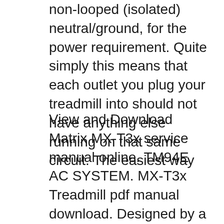non-looped (isolated) neutral/ground, for the power requirement. Quite simply this means that each outlet you plug your treadmill into should not have anything else running on that same circuit. The easiest way
View and Download Matrix MX-T3x service manual online. TM94E AC SYSTEM. MX-T3x Treadmill pdf manual download. Designed by a world leader in quality treadmills, the Matrix T3x sets a new standard in commercial cardio equipment. The T3x has an all LED display and everything you would want in a top-of-the-line treadmill, From the 3.0 HP club-rated drive system to the Ultimate reversible, maintenance-free